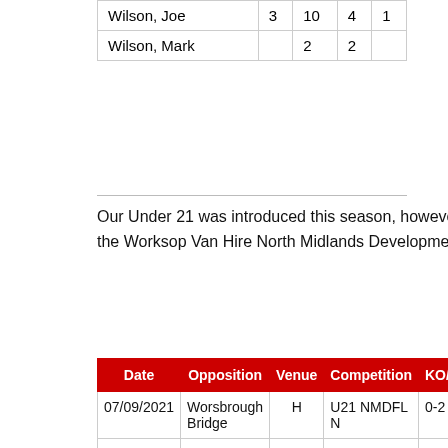| Name |  |  |  |  |
| --- | --- | --- | --- | --- |
| Wilson, Joe | 3 | 10 | 4 | 1 |
| Wilson, Mark |  | 2 | 2 |  |
Our Under 21 was introduced this season, however results didn't go quite the way they wanted to. They competed in the Worksop Van Hire North Midlands Development League, followed by a mini-league shield group stage.
| Date | Opposition | Venue | Competition | KO/Res | Sc |
| --- | --- | --- | --- | --- | --- |
| 07/09/2021 | Worsbrough Bridge | H | U21 NMDFL N | 0-2 |  |
| 13/09/2021 | Sheffield Town | A | U21 NMDFL N | 2-3 | J.Tya Redn |
| 08/10/2021 | Thorncliffe | A | U21 League Cup | 5-6 | J. Co D. Ri B. Cres L. Ho |